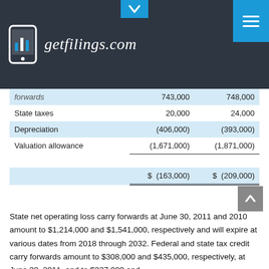getfilings.com
|  | Col1 | Col2 |
| --- | --- | --- |
| forwards | 743,000 | 748,000 |
| State taxes | 20,000 | 24,000 |
| Depreciation | (406,000) | (393,000) |
| Valuation allowance | (1,671,000) | (1,871,000) |
|  | $ (163,000) | $ (209,000) |
State net operating loss carry forwards at June 30, 2011 and 2010 amount to $1,214,000 and $1,541,000, respectively and will expire at various dates from 2018 through 2032. Federal and state tax credit carry forwards amount to $308,000 and $435,000, respectively, at June 30, 2011, and to $337,000 and